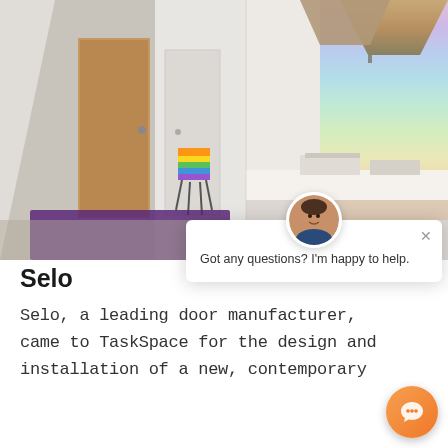[Figure (photo): Office space photo showing a corridor with white walls and a wooden door on the left, and a modern workspace with colorful hanging lamps, a rainbow-painted wall, and a white table on the right. A colorful chair is visible in the center.]
[Figure (screenshot): Chat popup overlay with a profile avatar photo of a man, close button X, and text: 'Got any questions? I'm happy to help.']
Selo
Selo, a leading door manufacturer, came to TaskSpace for the design and installation of a new, contemporary
[Figure (other): Orange circular chat button icon at bottom right]